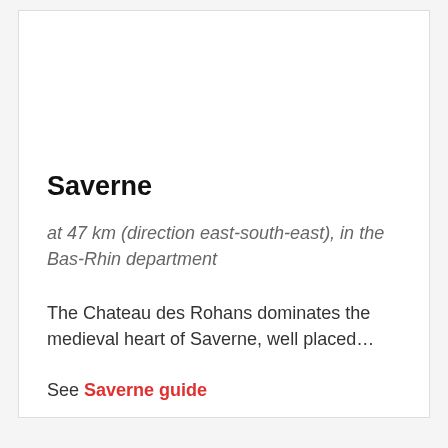Saverne
at 47 km (direction east-south-east), in the Bas-Rhin department
The Chateau des Rohans dominates the medieval heart of Saverne, well placed…
See Saverne guide